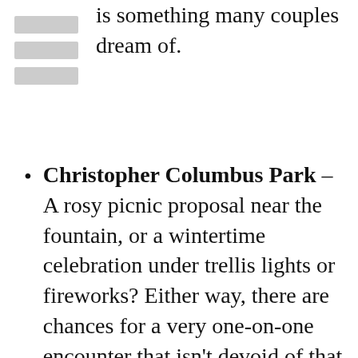[Figure (other): A small icon showing three horizontal lines resembling a table or menu, rendered with gray rectangles.]
is something many couples dream of.
Christopher Columbus Park – A rosy picnic proposal near the fountain, or a wintertime celebration under trellis lights or fireworks? Either way, there are chances for a very one-on-one encounter that isn't devoid of that extra something special.